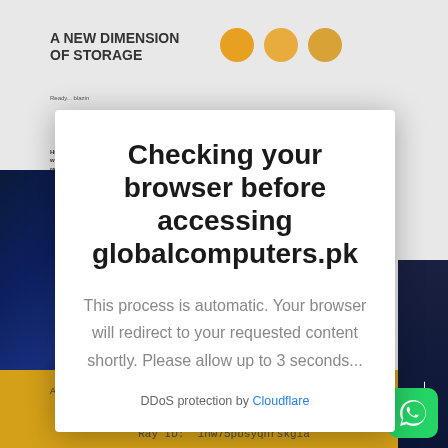Checking your browser before accessing globalcomputers.pk
This process is automatic. Your browser will redirect to your requested content shortly. Please allow up to 3 seconds...
DDoS protection by Cloudflare
Ray ID:  1hw75pbsyqnrskgia